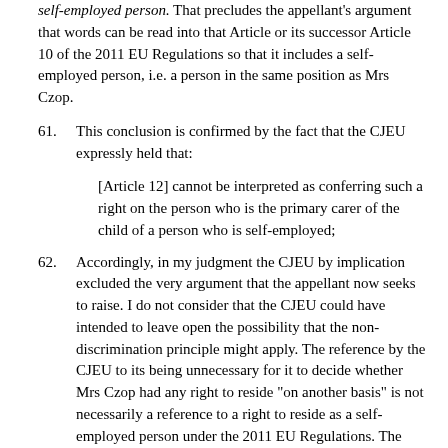self-employed person. That precludes the appellant's argument that words can be read into that Article or its successor Article 10 of the 2011 EU Regulations so that it includes a self-employed person, i.e. a person in the same position as Mrs Czop.
61. This conclusion is confirmed by the fact that the CJEU expressly held that:
[Article 12] cannot be interpreted as conferring such a right on the person who is the primary carer of the child of a person who is self-employed;
62. Accordingly, in my judgment the CJEU by implication excluded the very argument that the appellant now seeks to raise. I do not consider that the CJEU could have intended to leave open the possibility that the non-discrimination principle might apply. The reference by the CJEU to its being unnecessary for it to decide whether Mrs Czop had any right to reside "on another basis" is not necessarily a reference to a right to reside as a self-employed person under the 2011 EU Regulations. The CJEU might have considered that it needed to address the possibility that she was in fact a worker rather than a self-employed person, or had some